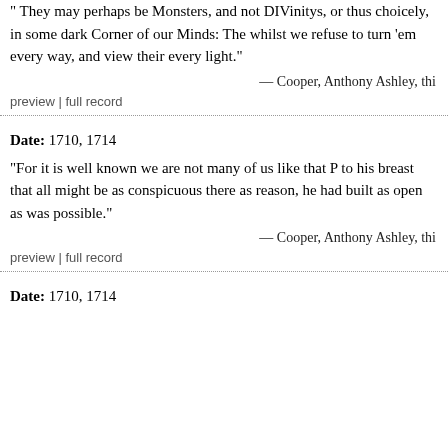" They may perhaps be Monsters, and not DIVinitys, thus choicely, in some dark Corner of our Minds: The whilst we refuse to turn 'em every way, and view their every light."
— Cooper, Anthony Ashley, thi
preview | full record
Date: 1710, 1714
"For it is well known we are not many of us like that P to his breast that all might be as conspicuous there as reason, he had built as open as was possible."
— Cooper, Anthony Ashley, thi
preview | full record
Date: 1710, 1714